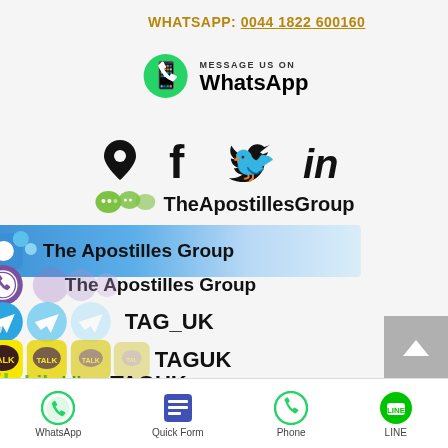WHATSAPP: 0044 1822 600160
[Figure (infographic): Social media contact banner showing WhatsApp badge with green icon, social media icons (location pin, Facebook, Twitter, LinkedIn), WeChat, Viber, Telegram (TAG_UK), KakaoTalk (TAGUK), and Kik (TAGUK) messaging app icons with account names]
[Figure (infographic): Footer navigation bar with WhatsApp, Quick Form, Phone, and LINE icons]